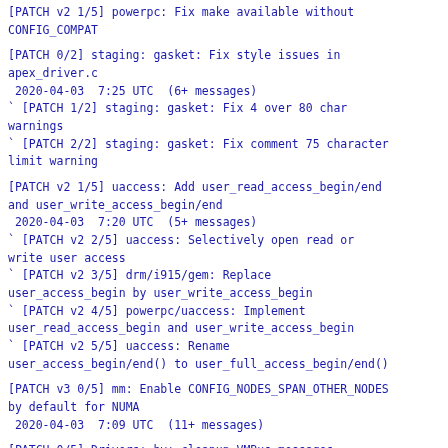[PATCH v2 1/5] powerpc: Fix make available without CONFIG_COMPAT
[PATCH 0/2] staging: gasket: Fix style issues in apex_driver.c
 2020-04-03  7:25 UTC  (6+ messages)
` [PATCH 1/2] staging: gasket: Fix 4 over 80 char warnings
` [PATCH 2/2] staging: gasket: Fix comment 75 character limit warning
[PATCH v2 1/5] uaccess: Add user_read_access_begin/end and user_write_access_begin/end
 2020-04-03  7:20 UTC  (5+ messages)
` [PATCH v2 2/5] uaccess: Selectively open read or write user access
` [PATCH v2 3/5] drm/i915/gem: Replace user_access_begin by user_write_access_begin
` [PATCH v2 4/5] powerpc/uaccess: Implement user_read_access_begin and user_write_access_begin
` [PATCH v2 5/5] uaccess: Rename user_access_begin/end() to user_full_access_begin/end()
[PATCH v3 0/5] mm: Enable CONFIG_NODES_SPAN_OTHER_NODES by default for NUMA
 2020-04-03  7:09 UTC  (11+ messages)
[PATCH 0/5] Drivers: hv: cleanup VMBus messages handling
 2020-04-03  7:07 UTC  (15+ messages)
` [PATCH 1/5] Drivers: hv: copy_from_message_page_only